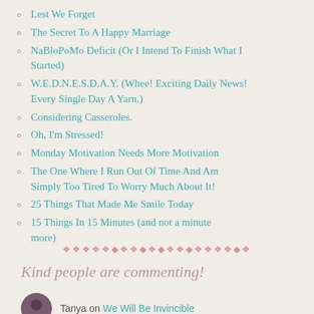Lest We Forget
The Secret To A Happy Marriage
NaBloPoMo Deficit (Or I Intend To Finish What I Started)
W.E.D.N.E.S.D.A.Y. (Whee! Exciting Daily News! Every Single Day A Yarn.)
Considering Casseroles.
Oh, I'm Stressed!
Monday Motivation Needs More Motivation
The One Where I Run Out Of Time And Am Simply Too Tired To Worry Much About It!
25 Things That Made Me Smile Today
15 Things In 15 Minutes (and not a minute more)
Kind people are commenting!
Tanya on We Will Be Invincible